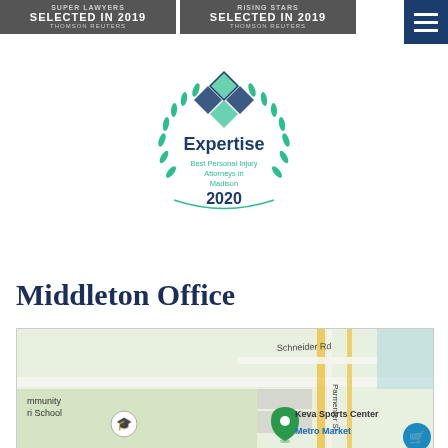[Figure (logo): Two Thomson Reuters 'Selected in 2019' award badges on dark grey background]
[Figure (logo): Navigation hamburger menu icon on dark blue background, top right corner]
[Figure (logo): Expertise badge: Best Personal Injury Attorneys in Madison 2020, teal laurel wreath design]
Middleton Office
[Figure (map): Google Maps screenshot showing Middleton area with Schneider Rd, Parmenter St, Keva Sports Center marker, Metro Market label, community Montessori School pin]